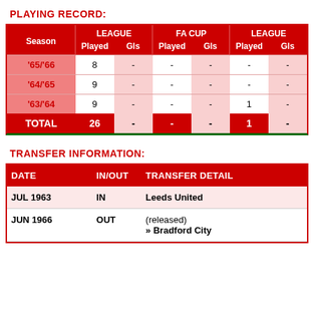PLAYING RECORD:
| Season | LEAGUE Played | LEAGUE Gls | FA CUP Played | FA CUP Gls | LEAGUE Played |
| --- | --- | --- | --- | --- | --- |
| '65/'66 | 8 | - | - | - | - |
| '64/'65 | 9 | - | - | - | - |
| '63/'64 | 9 | - | - | - | 1 |
| TOTAL | 26 | - | - | - | 1 |
TRANSFER INFORMATION:
| DATE | IN/OUT | TRANSFER DETAIL |
| --- | --- | --- |
| JUL 1963 | IN | Leeds United |
| JUN 1966 | OUT | (released)
» Bradford City |